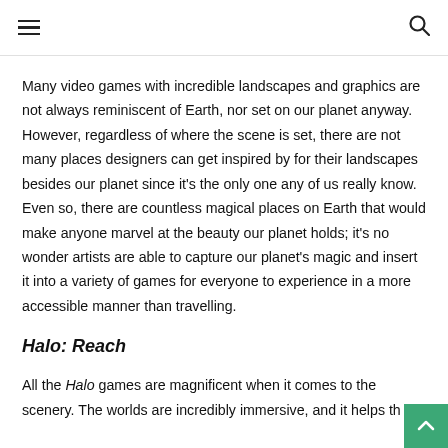≡  🔍
Many video games with incredible landscapes and graphics are not always reminiscent of Earth, nor set on our planet anyway. However, regardless of where the scene is set, there are not many places designers can get inspired by for their landscapes besides our planet since it's the only one any of us really know. Even so, there are countless magical places on Earth that would make anyone marvel at the beauty our planet holds; it's no wonder artists are able to capture our planet's magic and insert it into a variety of games for everyone to experience in a more accessible manner than travelling.
Halo: Reach
All the Halo games are magnificent when it comes to the scenery. The worlds are incredibly immersive, and it helps th